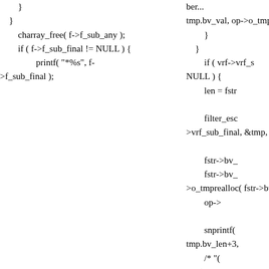Left column code fragment: closing braces, charray_free, if statement with printf
Right column code fragment: tmp.bv_val, op->o_tmpr..., closing braces, if vrf->vrf_s, NULL) {, len = fstr..., filter_esc..., >vrf_sub_final, &tmp, o..., fstr->bv_..., fstr->bv_..., >o_tmprealloc( fstr->bv_..., op->..., snprintf(..., tmp.bv_len+3, /* "...", "%s)",, tmp..., ber_mem..., ...